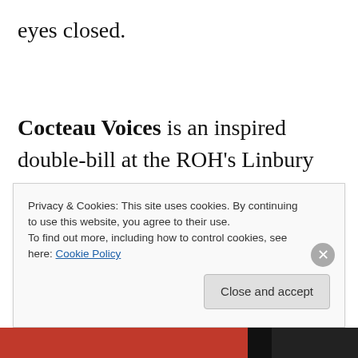eyes closed. Cocteau Voices is an inspired double-bill at the ROH's Linbury Studio. It pairs Poulenc's one woman opera based on a Cocteau playlet with another two-character Cocteau playlet, written for Edith Piaf and her lover, adapted as a wordless dance drama with an electronic score from Scott Walker. In the latter, three dancers play each character
Privacy & Cookies: This site uses cookies. By continuing to use this website, you agree to their use.
To find out more, including how to control cookies, see here: Cookie Policy
Close and accept